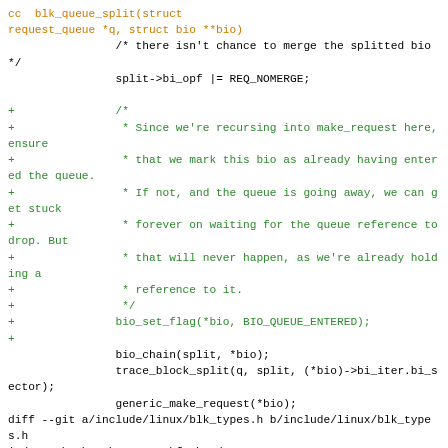cc  blk_queue_split(struct request_queue *q, struct bio **bio)
                /* there isn't chance to merge the splitted bio */
                split->bi_opf |= REQ_NOMERGE;

+               /*
+                * Since we're recursing into make_request here, ensure
+                * that we mark this bio as already having entered the queue.
+                * If not, and the queue is going away, we can get stuck
+                * forever on waiting for the queue reference to drop. But
+                * that will never happen, as we're already holding a
+                * reference to it.
+                */
+               bio_set_flag(*bio, BIO_QUEUE_ENTERED);
+
                bio_chain(split, *bio);
                trace_block_split(q, split, (*bio)->bi_iter.bi_sector);
                generic_make_request(*bio);
diff --git a/include/linux/blk_types.h b/include/linux/blk_types.h
index 17b18b91ebac..1602bf4ab4cd 100644
--- a/include/linux/blk_types.h
+++ b/include/linux/blk_types.h
@@ -186,6 +186,8 @@ struct bio {